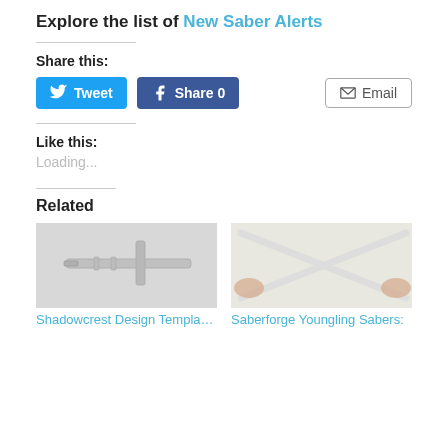Explore the list of New Saber Alerts
Share this:
[Figure (screenshot): Social share buttons: Tweet (Twitter/blue), Share 0 (Facebook/blue), Email (white with border)]
Like this:
Loading...
Related
[Figure (photo): Photo of a silver lightsaber hilt with crossguard design (Shadowcrest Design Templar V2)]
Shadowcrest Design Templar V2
[Figure (photo): Photo of two white lightsaber hilts crossed, held by hands (Saberforge Youngling Sabers)]
Saberforge Youngling Sabers: